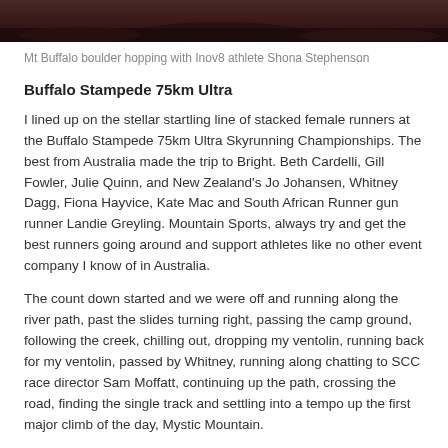[Figure (photo): Partial view of Mt Buffalo boulder terrain, dark rocky landscape, cropped at top of page]
Mt Buffalo boulder hopping with Inov8 athlete Shona Stephenson
Buffalo Stampede 75km Ultra
I lined up on the stellar startling line of stacked female runners at the Buffalo Stampede 75km Ultra Skyrunning Championships. The best from Australia made the trip to Bright. Beth Cardelli, Gill Fowler, Julie Quinn, and New Zealand's Jo Johansen, Whitney Dagg, Fiona Hayvice, Kate Mac and South African Runner gun runner Landie Greyling. Mountain Sports, always try and get the best runners going around and support athletes like no other event company I know of in Australia.
The count down started and we were off and running along the river path, past the slides turning right, passing the camp ground, following the creek, chilling out, dropping my ventolin, running back for my ventolin, passed by Whitney, running along chatting to SCC race director Sam Moffatt, continuing up the path, crossing the road, finding the single track and settling into a tempo up the first major climb of the day, Mystic Mountain.
After a few hundred meters, I was boiling hot. I cursed myself thinking